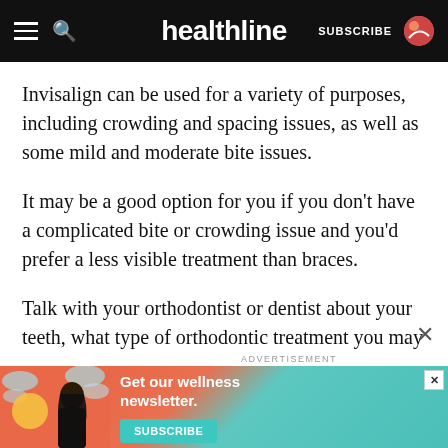healthline  SUBSCRIBE
Invisalign can be used for a variety of purposes, including crowding and spacing issues, as well as some mild and moderate bite issues.
It may be a good option for you if you don't have a complicated bite or crowding issue and you'd prefer a less visible treatment than braces.
Talk with your orthodontist or dentist about your teeth, what type of orthodontic treatment you may need, and whether Invisalign is a good option for you. Then, consider all the pros and cons before making your decision.
ADVERTISEMENT
[Figure (illustration): Advertisement banner with illustrated woman and teal background. Text reads 'Get our wellness newsletter.' with a SUBSCRIBE button.]